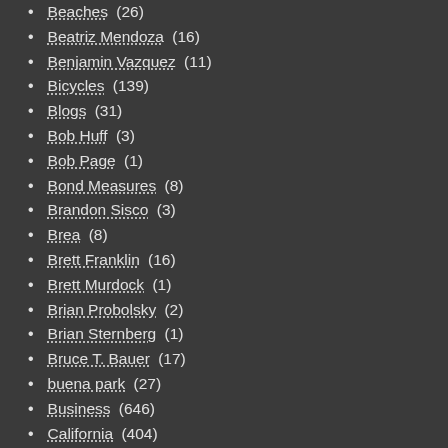Beaches (26)
Beatriz Mendoza (16)
Benjamin Vazquez (11)
Bicycles (139)
Blogs (31)
Bob Huff (3)
Bob Page (1)
Bond Measures (8)
Brandon Sisco (3)
Brea (8)
Brett Franklin (16)
Brett Murdock (1)
Brian Probolsky (2)
Brian Sternberg (1)
Bruce T. Bauer (17)
buena park (27)
Business (646)
California (404)
California Department of Justice (7)
Caloptima (9)
Caltrans (2)
Cambodians (16)
Carlos Bustamante (126)